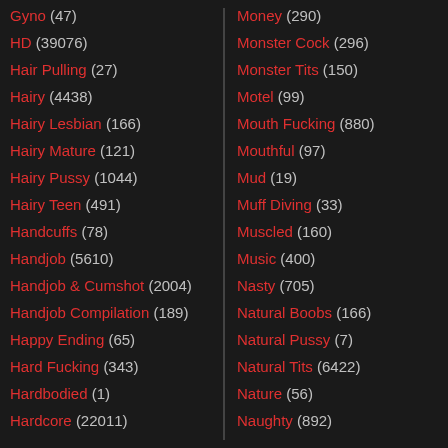Gyno (47)
HD (39076)
Hair Pulling (27)
Hairy (4438)
Hairy Lesbian (166)
Hairy Mature (121)
Hairy Pussy (1044)
Hairy Teen (491)
Handcuffs (78)
Handjob (5610)
Handjob & Cumshot (2004)
Handjob Compilation (189)
Happy Ending (65)
Hard Fucking (343)
Hardbodied (1)
Hardcore (22011)
Money (290)
Monster Cock (296)
Monster Tits (150)
Motel (99)
Mouth Fucking (880)
Mouthful (97)
Mud (19)
Muff Diving (33)
Muscled (160)
Music (400)
Nasty (705)
Natural Boobs (166)
Natural Pussy (7)
Natural Tits (6422)
Nature (56)
Naughty (892)